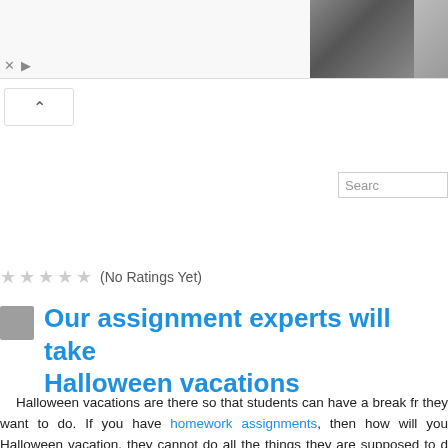[Figure (screenshot): Advertisement banner with photo strip showing couple in formal wear and person in suit, with ad controls (X and play button)]
[Figure (screenshot): Collapse/accordion button with up caret]
[Figure (screenshot): Search box input field]
(No Ratings Yet)
Our assignment experts will take Halloween vacations
Halloween vacations are there so that students can have a break fr they want to do. If you have homework assignments, then how will you Halloween vacation, they cannot do all the things they are supposed to d of their vacations thinking about college work.
Learners need to complete their assignments and submit them on the as assignments homework. Through these helpful tips, they can finish their • Utilize the part of day which is more productive for you- There are day they can perform better.